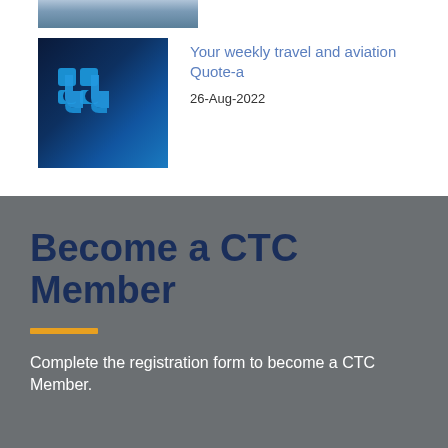[Figure (photo): Top partial image strip showing water/ocean landscape]
[Figure (photo): Blue quotation mark graphic thumbnail on dark blue background]
Your weekly travel and aviation Quote-a
26-Aug-2022
Become a CTC Member
Complete the registration form to become a CTC Member.